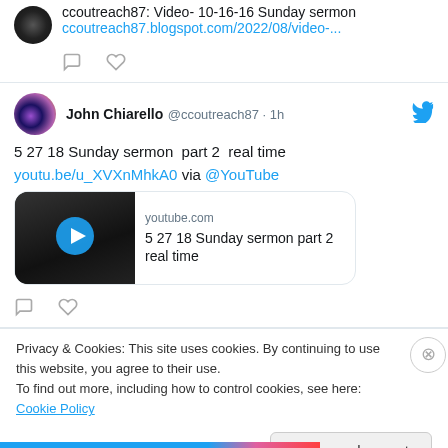ccoutreach87: Video- 10-16-16 Sunday sermon
ccoutreach87.blogspot.com/2022/08/video-...
[Figure (screenshot): Twitter/blog post partial: profile image and text about ccoutreach87 video sermon with link and like/comment icons]
John Chiarello @ccoutreach87 · 1h
5 27 18 Sunday sermon  part 2  real time
youtu.be/u_XVXnMhkA0 via @YouTube
[Figure (screenshot): YouTube video card embed showing youtube.com, title: 5 27 18 Sunday sermon part 2 real time, with play button thumbnail]
Privacy & Cookies: This site uses cookies. By continuing to use this website, you agree to their use.
To find out more, including how to control cookies, see here: Cookie Policy
Close and accept